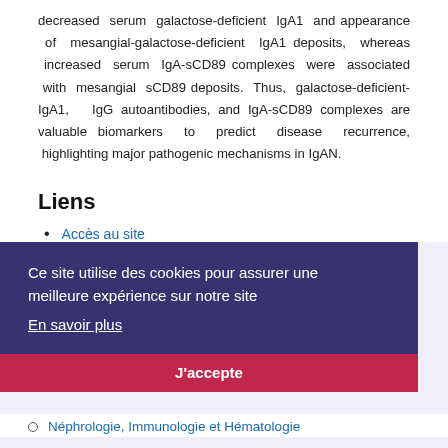decreased serum galactose-deficient IgA1 and appearance of mesangial-galactose-deficient IgA1 deposits, whereas increased serum IgA-sCD89 complexes were associated with mesangial sCD89 deposits. Thus, galactose-deficient-IgA1, IgG autoantibodies, and IgA-sCD89 complexes are valuable biomarkers to predict disease recurrence, highlighting major pathogenic mechanisms in IgAN.
Liens
Accès au site
[Figure (screenshot): Cookie consent banner with dark purple background. Text: 'Ce site utilise des cookies pour assurer une meilleure expérience sur notre site'. Link: 'En savoir plus'. Button: "J'accepte"]
Accès au site
Nos départements
Hepato-gastroentérologie
Néphrologie, Immunologie et Hématologie